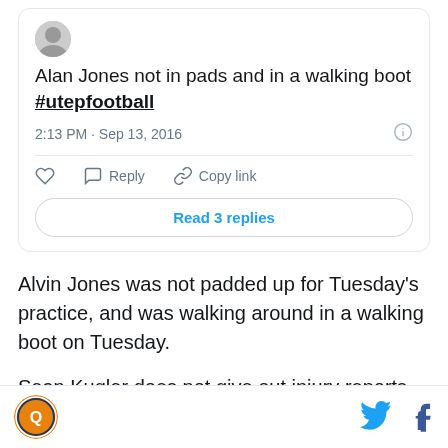[Figure (screenshot): Embedded tweet screenshot showing: 'Alan Jones not in pads and in a walking boot #utepfootball' posted at 2:13 PM · Sep 13, 2016, with Reply, Copy link actions and 'Read 3 replies' button.]
Alvin Jones was not padded up for Tuesday's practice, and was walking around in a walking boot on Tuesday.
Sean Kugler does not give out injury reports as he told reporters on Tuesday, meaning Jones could be doubtful, but again no official word was give on
Site logo | Twitter icon | Facebook icon